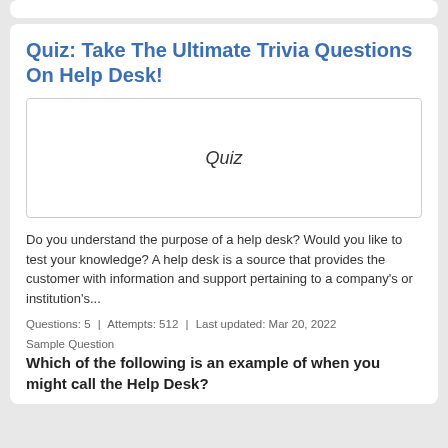Quiz: Take The Ultimate Trivia Questions On Help Desk!
[Figure (illustration): A box with the word 'Quiz' written in cursive/handwritten style font centered inside a bordered rectangle]
Do you understand the purpose of a help desk? Would you like to test your knowledge? A help desk is a source that provides the customer with information and support pertaining to a company's or institution's...
Questions: 5  |  Attempts: 512  |  Last updated: Mar 20, 2022
Sample Question
Which of the following is an example of when you might call the Help Desk?